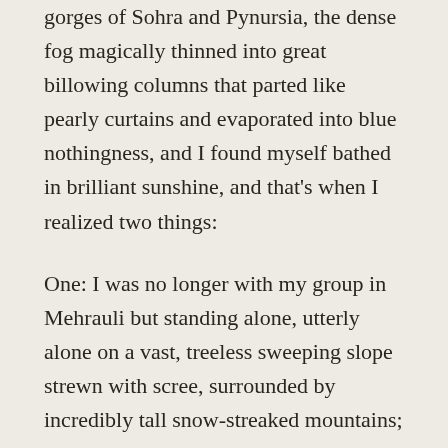gorges of Sohra and Pynursia, the dense fog magically thinned into great billowing columns that parted like pearly curtains and evaporated into blue nothingness, and I found myself bathed in brilliant sunshine, and that's when I realized two things:
One: I was no longer with my group in Mehrauli but standing alone, utterly alone on a vast, treeless sweeping slope strewn with scree, surrounded by incredibly tall snow-streaked mountains;
Two: I knew for sure I had never stood on that slope or ever seen those mountains in my life, yet I knew I had been there before, experienced that experience